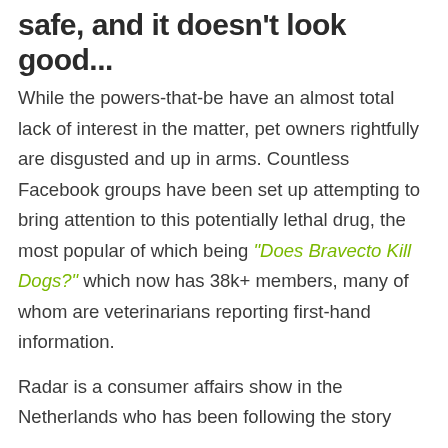safe, and it doesn't look good...
While the powers-that-be have an almost total lack of interest in the matter, pet owners rightfully are disgusted and up in arms. Countless Facebook groups have been set up attempting to bring attention to this potentially lethal drug, the most popular of which being “Does Bravecto Kill Dogs?” which now has 38k+ members, many of whom are veterinarians reporting first-hand information.
Radar is a consumer affairs show in the Netherlands who has been following the story